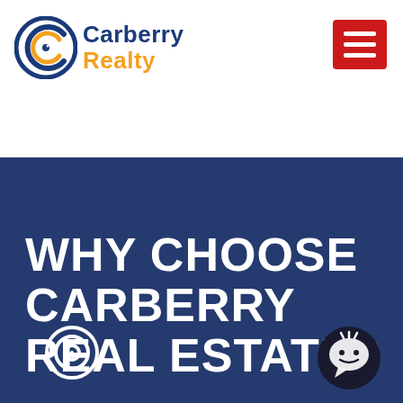[Figure (logo): Carberry Realty logo with circular C icon, navy blue and orange text]
[Figure (other): Red hamburger menu button with three white horizontal lines]
WHY CHOOSE CARBERRY REAL ESTATE?
[Figure (other): Circular target/bullseye icon in white outline on dark blue background]
[Figure (other): Chat bubble mascot icon in dark circle]